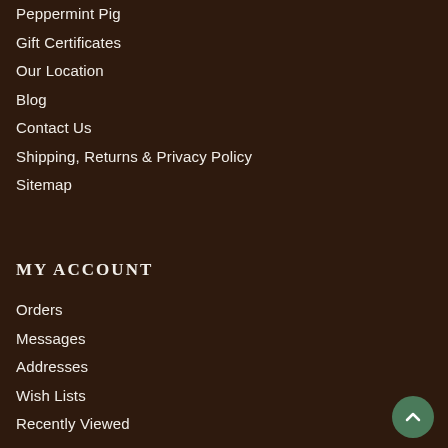Peppermint Pig
Gift Certificates
Our Location
Blog
Contact Us
Shipping, Returns & Privacy Policy
Sitemap
MY ACCOUNT
Orders
Messages
Addresses
Wish Lists
Recently Viewed